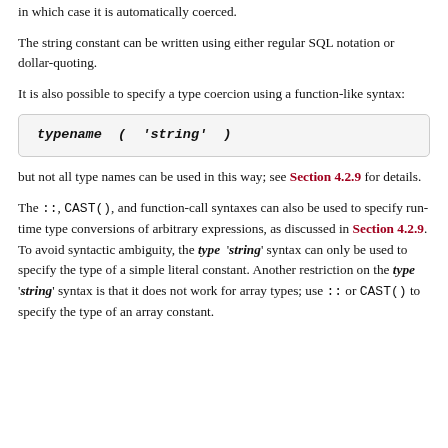in which case it is automatically coerced.
The string constant can be written using either regular SQL notation or dollar-quoting.
It is also possible to specify a type coercion using a function-like syntax:
but not all type names can be used in this way; see Section 4.2.9 for details.
The ::, CAST(), and function-call syntaxes can also be used to specify run-time type conversions of arbitrary expressions, as discussed in Section 4.2.9. To avoid syntactic ambiguity, the type 'string' syntax can only be used to specify the type of a simple literal constant. Another restriction on the type 'string' syntax is that it does not work for array types; use :: or CAST() to specify the type of an array constant.